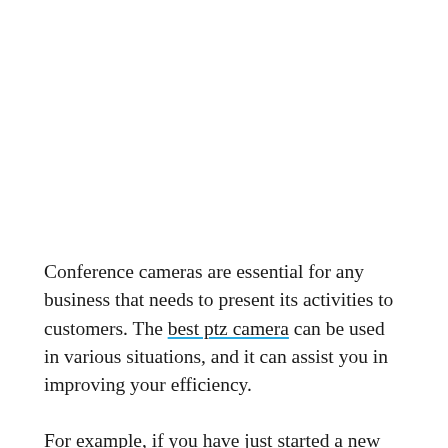Conference cameras are essential for any business that needs to present its activities to customers. The best ptz camera can be used in various situations, and it can assist you in improving your efficiency.
For example, if you have just started a new company, you must take advantage of all available opportunities. One